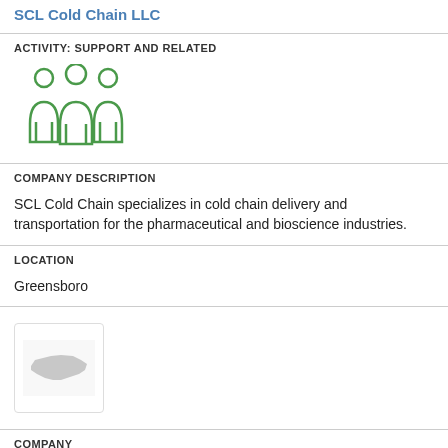SCL Cold Chain LLC
ACTIVITY: SUPPORT AND RELATED
[Figure (illustration): Green icon showing three people silhouettes representing a group/team]
COMPANY DESCRIPTION
SCL Cold Chain specializes in cold chain delivery and transportation for the pharmaceutical and bioscience industries.
LOCATION
Greensboro
[Figure (logo): Small card/logo box with a grey North Carolina state outline silhouette on white background]
COMPANY
Surry Chemicals Inc.